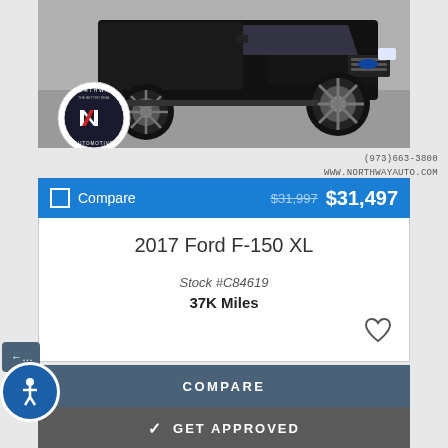[Figure (photo): Black Ford F-150 XL truck front/side view in a parking lot, with Northway Automotive circular logo overlay on lower left]
(973)663-3800
www.northwayauto.com
Compare   $31,997  $31,497
2017 Ford F-150 XL
Stock #C84619
37K Miles
COMPARE
✓  GET APPROVED